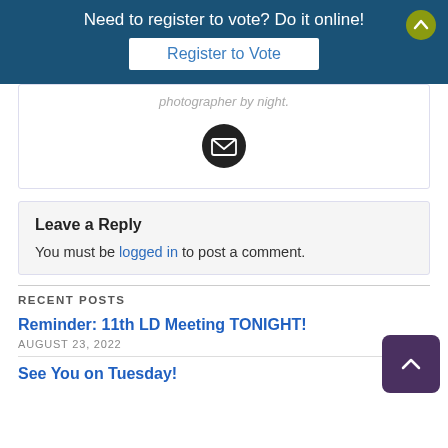Need to register to vote? Do it online!
Register to Vote
photographer by day, photographer by night.
[Figure (illustration): Black circular email icon with white envelope]
Leave a Reply
You must be logged in to post a comment.
RECENT POSTS
Reminder: 11th LD Meeting TONIGHT!
AUGUST 23, 2022
See You on Tuesday!